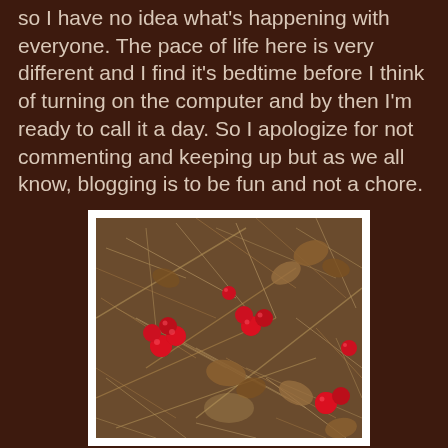so I have no idea what's happening with everyone. The pace of life here is very different and I find it's bedtime before I think of turning on the computer and by then I'm ready to call it a day. So I apologize for not commenting and keeping up but as we all know, blogging is to be fun and not a chore.
[Figure (photo): Photograph of red berries scattered among dry grass, pine needles, and fallen brown leaves on the ground, viewed from above.]